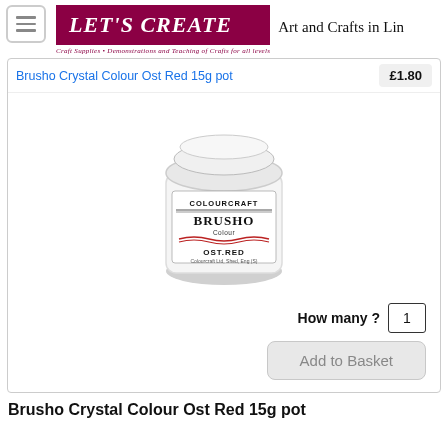[Figure (logo): Let's Create logo with tagline 'Craft Supplies • Demonstrations and Teaching of Crafts for all levels' and slogan 'Art and Crafts in Lin']
Brusho Crystal Colour Ost Red 15g pot
[Figure (photo): White cylindrical pot with Colourcraft Brusho Colour label reading OST.RED]
How many ? 1
Add to Basket
Brusho Crystal Colour Ost Red 15g pot